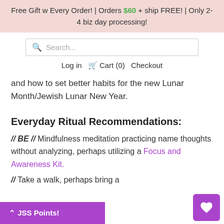Free Gift w Every Order! | Orders $60 + ship FREE! | Only 2-4 biz day processing!
and how to set better habits for the new Lunar Month/Jewish Lunar New Year.
Everyday Ritual Recommendations:
// BE // Mindfulness meditation practicing name thoughts without analyzing, perhaps utilizing a Focus and Awareness Kit.
// Take a walk, perhaps bring a
⌃ JSS Points!